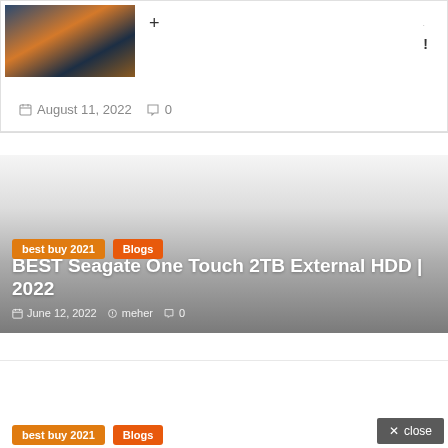[Figure (photo): Thumbnail image of a bar or restaurant scene with warm orange lighting]
August 11, 2022  0
[Figure (photo): Large card with gradient overlay showing a blog post about Seagate One Touch 2TB External HDD]
best buy 2021  Blogs
BEST Seagate One Touch 2TB External HDD | 2022
June 12, 2022  meher  0
× close